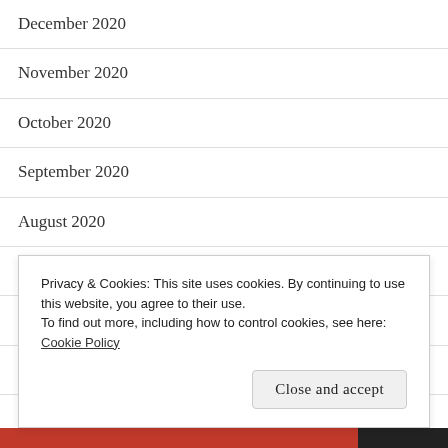December 2020
November 2020
October 2020
September 2020
August 2020
July 2020
May 2020
April 2020
Privacy & Cookies: This site uses cookies. By continuing to use this website, you agree to their use.
To find out more, including how to control cookies, see here:
Cookie Policy
Close and accept